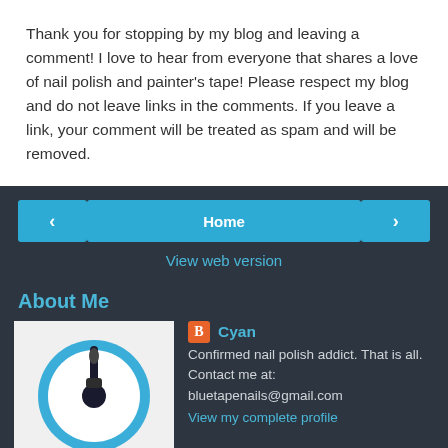Thank you for stopping by my blog and leaving a comment! I love to hear from everyone that shares a love of nail polish and painter's tape! Please respect my blog and do not leave links in the comments. If you leave a link, your comment will be treated as spam and will be removed.
‹  Home  ›
View web version
About Me
[Figure (illustration): Profile image showing a nail polish brush icon inside a blue circle on a white background]
Cyan
Confirmed nail polish addict. That is all. Contact me at: bluetapenails@gmail.com
View my complete profile
Powered by Blogger.